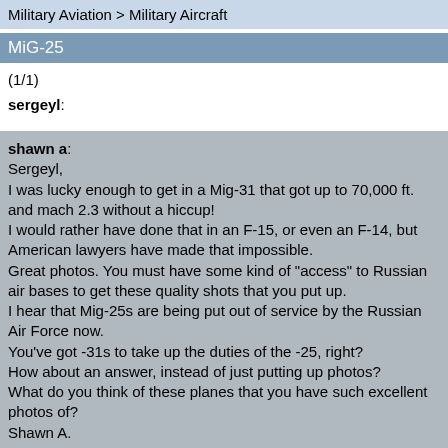Military Aviation > Military Aircraft
MiG-25
(1/1)
sergeyl:
shawn a:
Sergeyl,
I was lucky enough to get in a Mig-31 that got up to 70,000 ft. and mach 2.3 without a hiccup!
I would rather have done that in an F-15, or even an F-14, but American lawyers have made that impossible.
Great photos. You must have some kind of "access" to Russian air bases to get these quality shots that you put up.
I hear that Mig-25s are being put out of service by the Russian Air Force now.
You've got -31s to take up the duties of the -25, right?
How about an answer, instead of just putting up photos?
What do you think of these planes that you have such excellent photos of?
Shawn A.